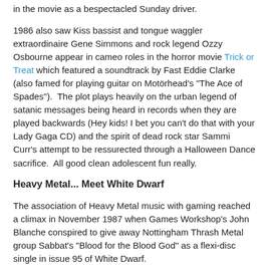in the movie as a bespectacled Sunday driver.
1986 also saw Kiss bassist and tongue waggler extraordinaire Gene Simmons and rock legend Ozzy Osbourne appear in cameo roles in the horror movie Trick or Treat which featured a soundtrack by Fast Eddie Clarke (also famed for playing guitar on Motörhead's "The Ace of Spades").  The plot plays heavily on the urban legend of satanic messages being heard in records when they are played backwards (Hey kids! I bet you can't do that with your Lady Gaga CD) and the spirit of dead rock star Sammi Curr's attempt to be ressurected through a Halloween Dance sacrifice.  All good clean adolescent fun really.
Heavy Metal... Meet White Dwarf
The association of Heavy Metal music with gaming reached a climax in November 1987 when Games Workshop's John Blanche conspired to give away Nottingham Thrash Metal group Sabbat's "Blood for the Blood God" as a flexi-disc single in issue 95 of White Dwarf.